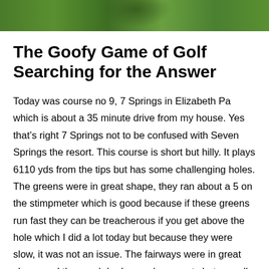[Figure (photo): Partial photo of a golf course showing grass and what appears to be a tree trunk at the top of the page]
The Goofy Game of Golf Searching for the Answer
Today was course no 9, 7 Springs in Elizabeth Pa which is about a 35 minute drive from my house. Yes that’s right 7 Springs not to be confused with Seven Springs the resort. This course is short but hilly. It plays 6110 yds from the tips but has some challenging holes. The greens were in great shape, they ran about a 5 on the stimpmeter which is good because if these greens run fast they can be treacherous if you get above the hole which I did a lot today but because they were slow, it was not an issue. The fairways were in great shape and the rough had some bare spots but overall this course was in good shape. Is